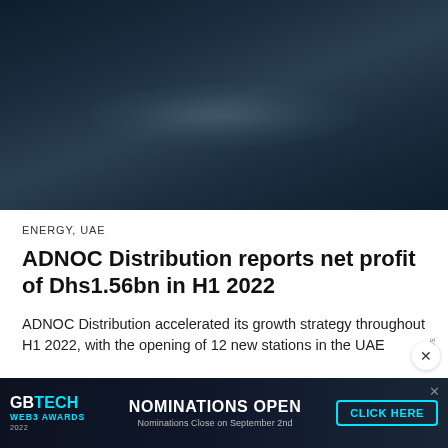[Figure (photo): Dark blue/navy gradient hero image, likely a night sky or industrial background with a subtle light streak in the center]
ENERGY, UAE
ADNOC Distribution reports net profit of Dhs1.56bn in H1 2022
ADNOC Distribution accelerated its growth strategy throughout H1 2022, with the opening of 12 new stations in the UAE
[Figure (other): Advertisement banner: GBTECH WEB3 AWARDS 2022 — NOMINATIONS OPEN — Nominations Close on September 2nd — CLICK HERE button]